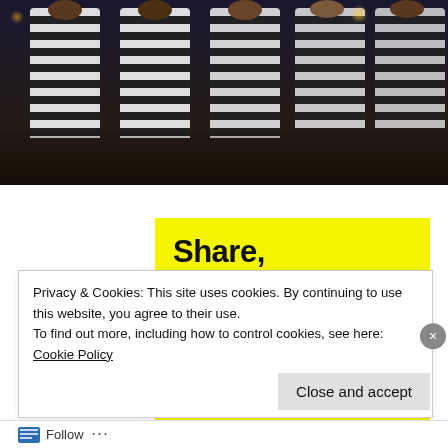[Figure (photo): A crowd of protesters wearing striped black-and-white costumes, photographed indoors at night. Multiple figures visible in the background crowd.]
[Figure (infographic): Yellow background with bold black text reading: Share, Discuss, Collaborate, P2.]
Privacy & Cookies: This site uses cookies. By continuing to use this website, you agree to their use.
To find out more, including how to control cookies, see here:
Cookie Policy
Close and accept
Follow